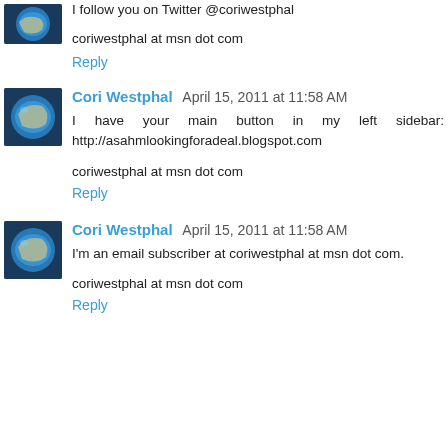I follow you on Twitter @coriwestphal
coriwestphal at msn dot com
Reply
Cori Westphal  April 15, 2011 at 11:58 AM
I have your main button in my left sidebar: http://asahmlookingforadeal.blogspot.com
coriwestphal at msn dot com
Reply
Cori Westphal  April 15, 2011 at 11:58 AM
I'm an email subscriber at coriwestphal at msn dot com.
coriwestphal at msn dot com
Reply